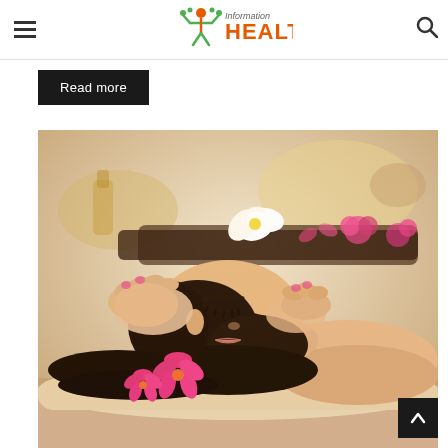Information HEALTHY
Read more
[Figure (photo): Woman receiving a head/facial massage at a spa, lying down with eyes closed, pink flowers in her hair, spa setting with candles, flowers and massage stones in background]